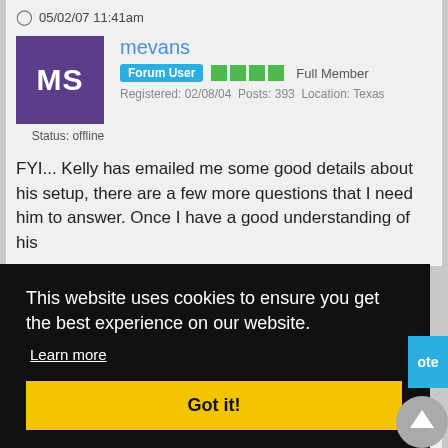05/02/07 11:41am
[Figure (other): Purple avatar square with white initials MS]
mevans
Forum User  ■■■■  Full Member  Registered: 02/08/04  Posts: 393  Location: Texas
Status: offline
FYI... Kelly has emailed me some good details about his setup, there are a few more questions that I need him to answer. Once I have a good understanding of his
This website uses cookies to ensure you get the best experience on our website.
Learn more
Got it!